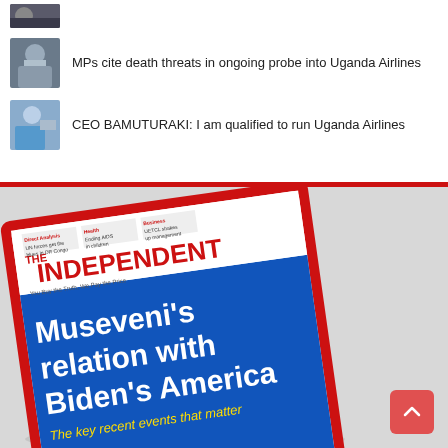[Figure (photo): Partial thumbnail image at top, cropped person]
MPs cite death threats in ongoing probe into Uganda Airlines
CEO BAMUTURAKI: I am qualified to run Uganda Airlines
[Figure (photo): The Independent magazine cover featuring headline 'Museveni’s relation with Biden’s America' and subheading 'The key recent events that matter', with photo of a man in suit gesturing at a podium]